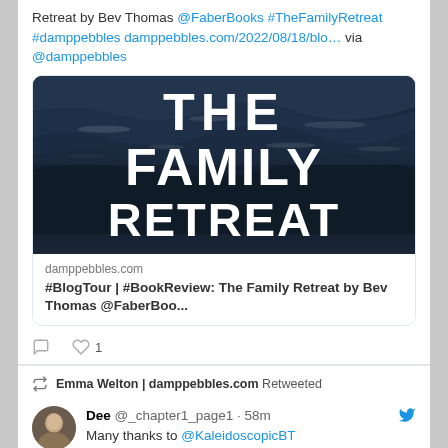Retreat by Bev Thomas @FaberBooks #TheFamilyRetreat #damppebbles damppebbles.com/2022/08/18/blo… via @damppebbles
[Figure (photo): Book cover of 'The Family Retreat' showing ocean waves in dark blue tones with large white bold text]
damppebbles.com
#BlogTour | #BookReview: The Family Retreat by Bev Thomas @FaberBoo...
1 like, reply and like action icons
Emma Welton | damppebbles.com Retweeted
Dee @_chapter1_page1 · 58m
Many thanks to @KaleidoscopicBT